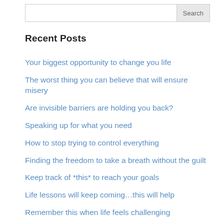Search
Recent Posts
Your biggest opportunity to change you life
The worst thing you can believe that will ensure misery
Are invisible barriers are holding you back?
Speaking up for what you need
How to stop trying to control everything
Finding the freedom to take a breath without the guilt
Keep track of *this* to reach your goals
Life lessons will keep coming...this will help
Remember this when life feels challenging